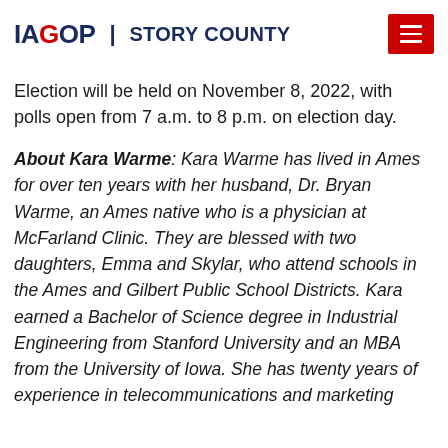IAGOP | STORY COUNTY
Election will be held on November 8, 2022, with polls open from 7 a.m. to 8 p.m. on election day.
About Kara Warme: Kara Warme has lived in Ames for over ten years with her husband, Dr. Bryan Warme, an Ames native who is a physician at McFarland Clinic. They are blessed with two daughters, Emma and Skylar, who attend schools in the Ames and Gilbert Public School Districts. Kara earned a Bachelor of Science degree in Industrial Engineering from Stanford University and an MBA from the University of Iowa. She has twenty years of experience in telecommunications and marketing